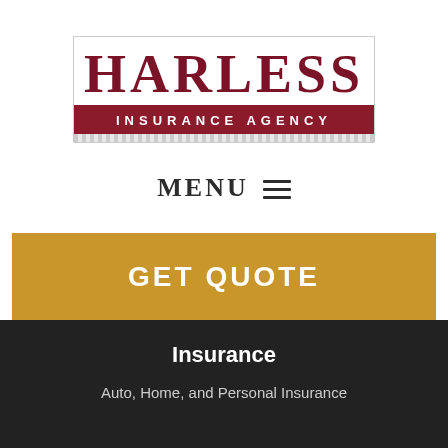[Figure (logo): Harless Insurance Agency logo with large red serif HARLESS text above a dark red banner reading INSURANCE AGENCY, with a decorative striped bottom edge]
MENU ≡
GET QUOTE
Insurance
Auto, Home, and Personal Insurance